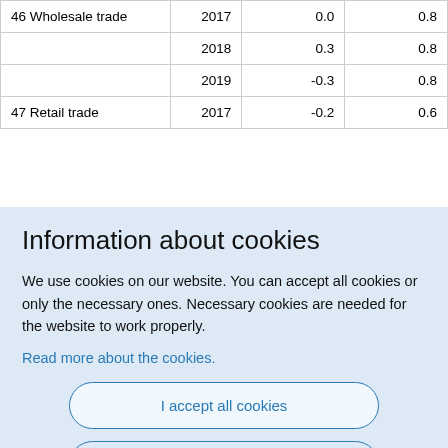| 46 Wholesale trade | 2017 | 0.0 | 0.8 |
|  | 2018 | 0.3 | 0.8 |
|  | 2019 | -0.3 | 0.8 |
| 47 Retail trade | 2017 | -0.2 | 0.6 |
Information about cookies
We use cookies on our website. You can accept all cookies or only the necessary ones. Necessary cookies are needed for the website to work properly.
Read more about the cookies.
I accept all cookies
I only accept necessary cookies